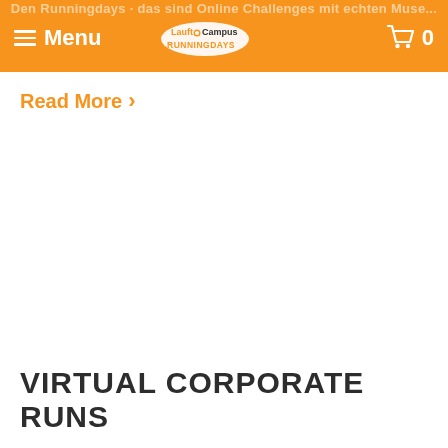Menu | LauftCampus RUNNINGDAYS | 0
Read More ›
VIRTUAL CORPORATE RUNS